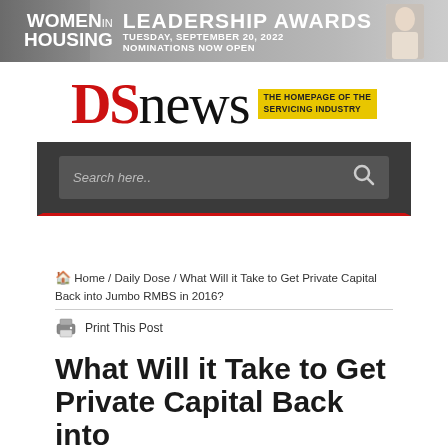[Figure (infographic): Women in Housing Leadership Awards banner — Tuesday, September 20, 2022, Nominations Now Open, with a photo of a woman on the right side and gray background]
[Figure (logo): DS News logo — red block letters DS followed by black serif letters news, with yellow tagline block reading THE HOMEPAGE OF THE SERVICING INDUSTRY]
[Figure (screenshot): Dark gray search bar with placeholder text 'Search here..' and a magnifying glass icon on the right, with red bottom border]
Home / Daily Dose / What Will it Take to Get Private Capital Back into Jumbo RMBS in 2016?
Print This Post
What Will it Take to Get Private Capital Back into